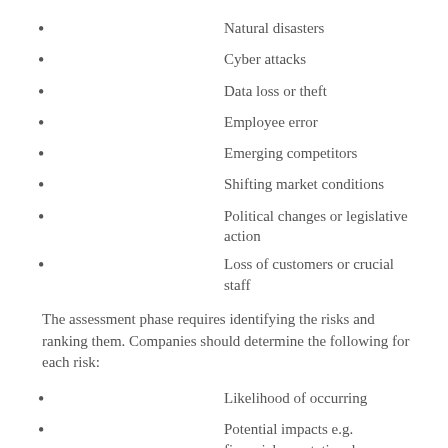Natural disasters
Cyber attacks
Data loss or theft
Employee error
Emerging competitors
Shifting market conditions
Political changes or legislative action
Loss of customers or crucial staff
The assessment phase requires identifying the risks and ranking them. Companies should determine the following for each risk:
Likelihood of occurring
Potential impacts e.g. financial, reputational, regulatory
Some models define risk as the product of the two